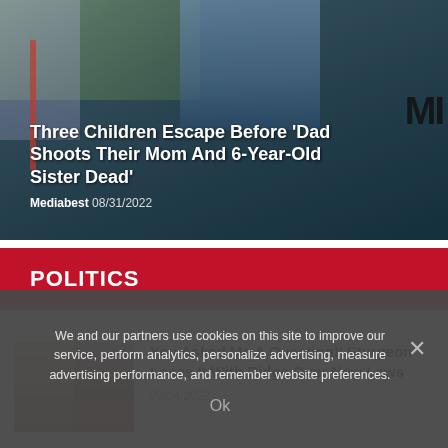[Figure (photo): News article hero image with dark blue-grey background and partial MI logo visible on right side]
Three Children Escape Before 'Dad Shoots Their Mom And 6-Year-Old Sister Dead'
Mediabest 08/31/2022
POLITICS
[Figure (photo): Two women side by side — a blonde woman on left and a dark-haired woman on right in red top (Nicola Sturgeon)]
You Asked Me A Question!' Sturgeon Loses It With Ridge Over New Laws
09/04/2022
We and our partners use cookies on this site to improve our service, perform analytics, personalize advertising, measure advertising performance, and remember website preferences.
Ok